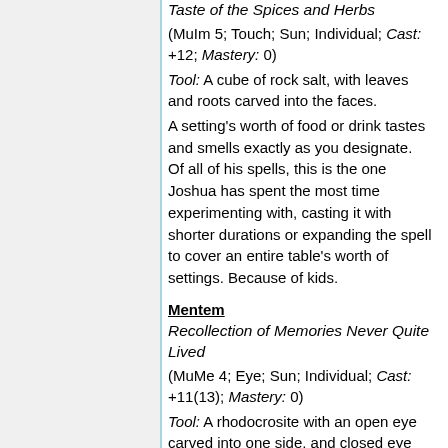Taste of the Spices and Herbs
(MuIm 5; Touch; Sun; Individual; Cast: +12; Mastery: 0)
Tool: A cube of rock salt, with leaves and roots carved into the faces.
A setting's worth of food or drink tastes and smells exactly as you designate. Of all of his spells, this is the one Joshua has spent the most time experimenting with, casting it with shorter durations or expanding the spell to cover an entire table's worth of settings. Because of kids.
Mentem
Recollection of Memories Never Quite Lived
(MuMe 4; Eye; Sun; Individual; Cast: +11(13); Mastery: 0)
Tool: A rhodocrosite with an open eye carved into one side, and closed eye on